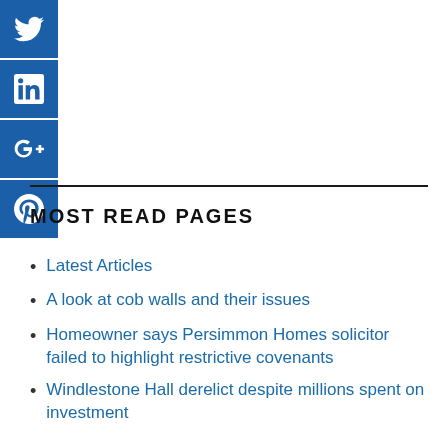[Figure (other): Social media sharing icons (Twitter, LinkedIn, Google+, Pinterest) as a vertical blue sidebar on the left]
MOST READ PAGES
Latest Articles
A look at cob walls and their issues
Homeowner says Persimmon Homes solicitor failed to highlight restrictive covenants
Windlestone Hall derelict despite millions spent on investment